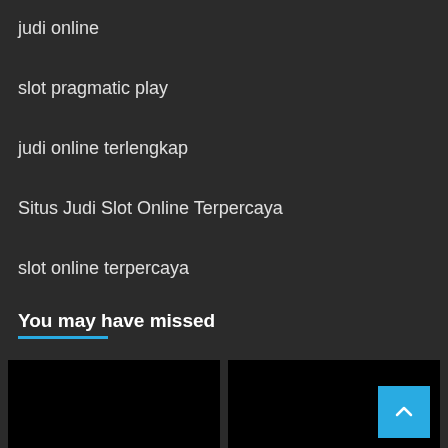judi online
slot pragmatic play
judi online terlengkap
Situs Judi Slot Online Terpercaya
slot online terpercaya
You may have missed
[Figure (other): Two dark thumbnail card images side by side with a cyan scroll-to-top button on the right card]